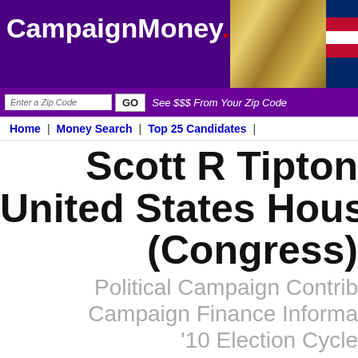CampaignMoney.com
See $$$ From Your Zip Code
Home | Money Search | Top 25 Candidates |
Scott R Tipton United States House of Representatives (Congress)
Political Campaign Contributions
Campaign Finance Information
'10 Election Cycle
Election Cycles:
2006 2008 2010 2012 2014 2016 2018